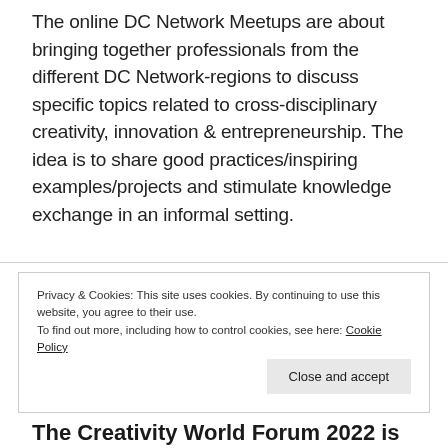The online DC Network Meetups are about bringing together professionals from the different DC Network-regions to discuss specific topics related to cross-disciplinary creativity, innovation & entrepreneurship. The idea is to share good practices/inspiring examples/projects and stimulate knowledge exchange in an informal setting.
Privacy & Cookies: This site uses cookies. By continuing to use this website, you agree to their use.
To find out more, including how to control cookies, see here: Cookie Policy
The Creativity World Forum 2022 is